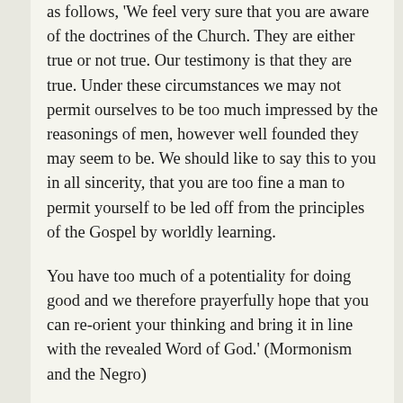as follows, 'We feel very sure that you are aware of the doctrines of the Church. They are either true or not true. Our testimony is that they are true. Under these circumstances we may not permit ourselves to be too much impressed by the reasonings of men, however well founded they may seem to be. We should like to say this to you in all sincerity, that you are too fine a man to permit yourself to be led off from the principles of the Gospel by worldly learning.
You have too much of a potentiality for doing good and we therefore prayerfully hope that you can re-orient your thinking and bring it in line with the revealed Word of God.' (Mormonism and the Negro)
That's why I voted the way I did. To me, the evidence seems overwhelming. Like Brother Nelson, I do not